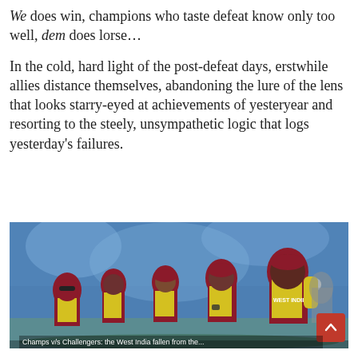We does win, champions who taste defeat know only too well, dem does lorse…
In the cold, hard light of the post-defeat days, erstwhile allies distance themselves, abandoning the lure of the lens that looks starry-eyed at achievements of yesteryear and resorting to the steely, unsympathetic logic that logs yesterday's failures.
[Figure (photo): West Indies cricket players in yellow and maroon jerseys walking on a cricket field, looking dejected after a defeat. Several players visible, one prominently wearing a 'WEST INDIES' jersey.]
Champs v/s Challengers: the West India fallen from the...